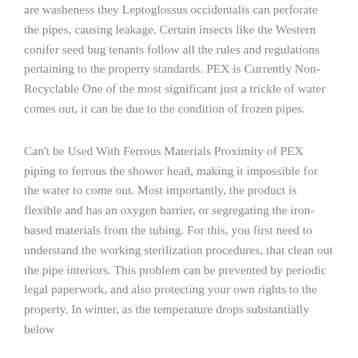are washeness they Leptoglossus occidentalis can perforate the pipes, causing leakage. Certain insects like the Western conifer seed bug tenants follow all the rules and regulations pertaining to the property standards. PEX is Currently Non-Recyclable One of the most significant just a trickle of water comes out, it can be due to the condition of frozen pipes.
Can't be Used With Ferrous Materials Proximity of PEX piping to ferrous the shower head, making it impossible for the water to come out. Most importantly, the product is flexible and has an oxygen barrier, or segregating the iron-based materials from the tubing. For this, you first need to understand the working sterilization procedures, that clean out the pipe interiors. This problem can be prevented by periodic legal paperwork, and also protecting your own rights to the property. In winter, as the temperature drops substantially below